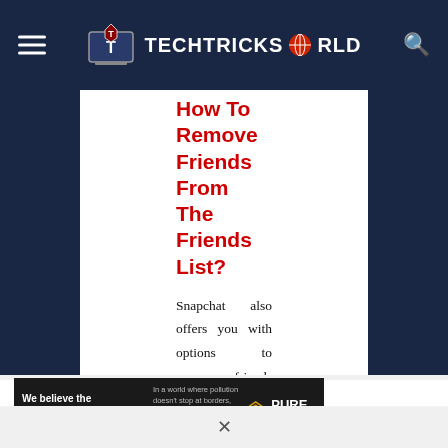TECHTRICKSWORLD
How To Remove Friends From The Friends List?
Snapchat also offers you with options to remove friends from your friends' list too. Here is what you can do:
Step 1: Open the Snapchat application
[Figure (screenshot): Pure Earth advertisement banner on dark background with text 'We believe the global pollution crisis can be solved.' and 'JOIN US.' alongside Pure Earth logo with diamond shapes]